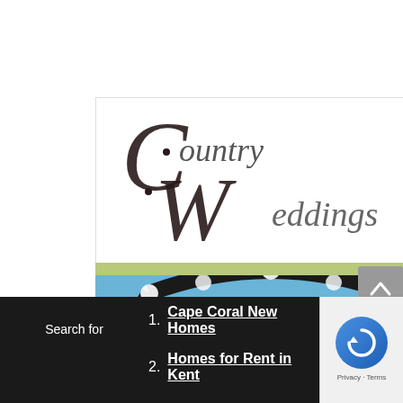[Figure (logo): Country Weddings logo with decorative script lettering]
[Figure (photo): Bride and groom standing under a floral arch on a beach, ocean in background]
Weddings & Honeymoons
countryweddings.com
[Figure (other): Trophy/award icon]
click 2 visit
Search for
1. Cape Coral New Homes
2. Homes for Rent in Kent